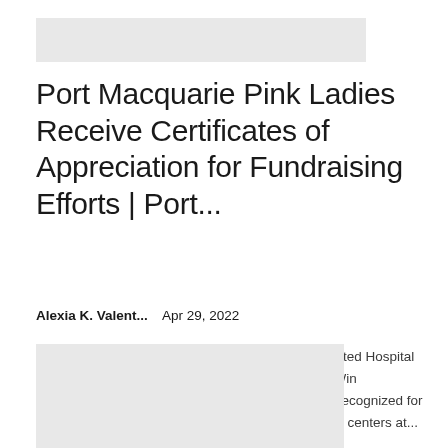[Figure (other): Light gray rectangular placeholder image at top of page]
Port Macquarie Pink Ladies Receive Certificates of Appreciation for Fundraising Efforts | Port...
Alexia K. Valent...    Apr 29, 2022
news, latest news, Port Macquarie Pink Ladies, United Hospital Auxiliaries of NSW, North East Region Zone Day, Win SecombeThe Pink Ladies of Port Macquarie were recognized for their contribution to hospitals and community health centers at...
[Figure (other): Light gray rectangular placeholder image at bottom of page]